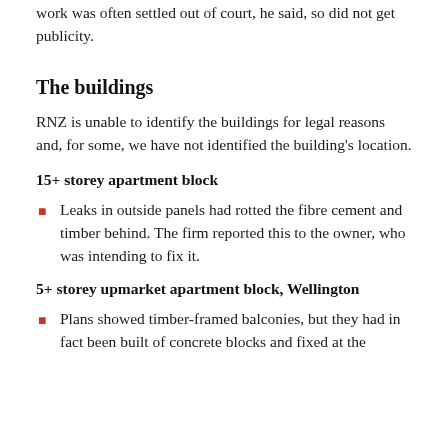work was often settled out of court, he said, so did not get publicity.
The buildings
RNZ is unable to identify the buildings for legal reasons and, for some, we have not identified the building's location.
15+ storey apartment block
Leaks in outside panels had rotted the fibre cement and timber behind. The firm reported this to the owner, who was intending to fix it.
5+ storey upmarket apartment block, Wellington
Plans showed timber-framed balconies, but they had in fact been built of concrete blocks and fixed at the...